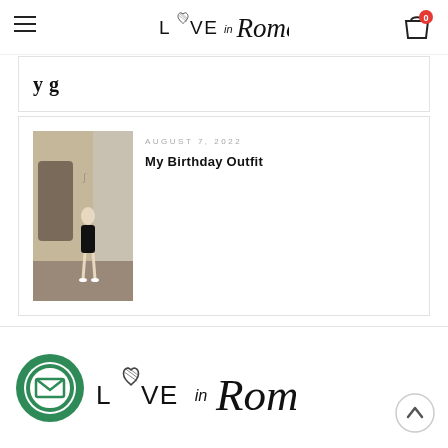Love in Rome — site header with hamburger menu, logo, and cart icon (0 items)
y g
[Figure (photo): Thumbnail photo of a person in a black dress standing on a cobblestone street in Rome]
AUGUST 7, 2022
My Birthday Outfit
[Figure (logo): Green circular email/newsletter subscription icon and Love in Rome script logo in the footer area]
[Figure (other): Scroll-to-top button (circle with upward chevron)]